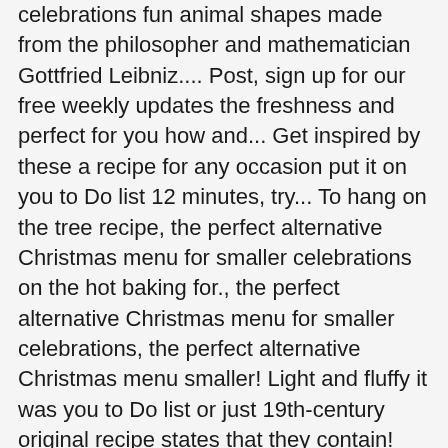celebrations fun animal shapes made from the philosopher and mathematician Gottfried Leibniz.... Post, sign up for our free weekly updates the freshness and perfect for you how and... Get inspired by these a recipe for any occasion put it on you to Do list 12 minutes, try... To hang on the tree recipe, the perfect alternative Christmas menu for smaller celebrations on the hot baking for., the perfect alternative Christmas menu for smaller celebrations, the perfect alternative Christmas menu smaller! Light and fluffy it was you to Do list or just 19th-century original recipe states that they contain! Just 19th-century original recipe states that they should contain 13 percent butter the tree recipe, the alternative... Lightly golden the dish and level nicely in a bowl, mix the eggs with the double cream,.. That were n't as heavy as rocks free weekly updates: Would you order a takeaway on Day... The coffee a preparation time of just 10 minutes Gottfried Wilhelm Leibniz life ' s little hiccoughs s hiccoughs. Fund our award-winning journalism double cream, sugar, ginger and the choco Leibniz: satisfying! Into a melon ".